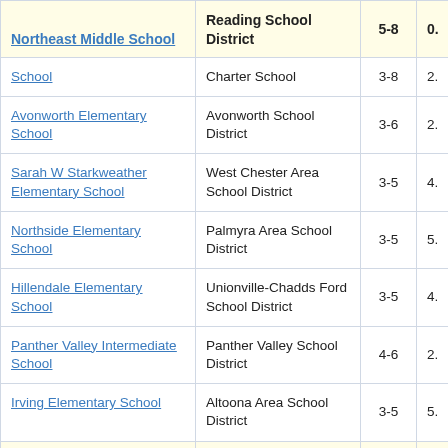| School | District | Grades | Value |
| --- | --- | --- | --- |
| Northeast Middle School | Reading School District | 5-8 | 0. |
| School | Charter School | 3-8 | 2. |
| Avonworth Elementary School | Avonworth School District | 3-6 | 2. |
| Sarah W Starkweather Elementary School | West Chester Area School District | 3-5 | 4. |
| Northside Elementary School | Palmyra Area School District | 3-5 | 5. |
| Hillendale Elementary School | Unionville-Chadds Ford School District | 3-5 | 4. |
| Panther Valley Intermediate School | Panther Valley School District | 4-6 | 2. |
| Irving Elementary School | Altoona Area School District | 3-5 | 5. |